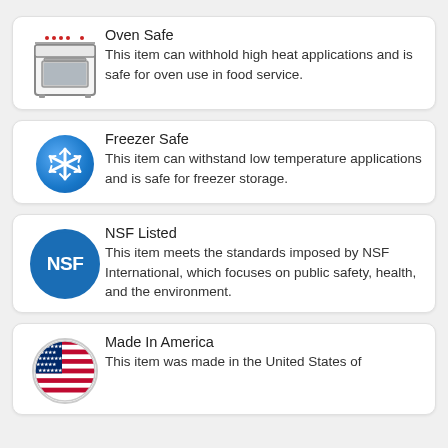[Figure (illustration): Oven icon - line drawing of a kitchen oven/range with burners on top and oven window]
Oven Safe
This item can withhold high heat applications and is safe for oven use in food service.
[Figure (illustration): Snowflake icon in blue circle representing freezer safe]
Freezer Safe
This item can withstand low temperature applications and is safe for freezer storage.
[Figure (logo): NSF logo - white NSF text on blue circle]
NSF Listed
This item meets the standards imposed by NSF International, which focuses on public safety, health, and the environment.
[Figure (illustration): American flag in a circle]
Made In America
This item was made in the United States of